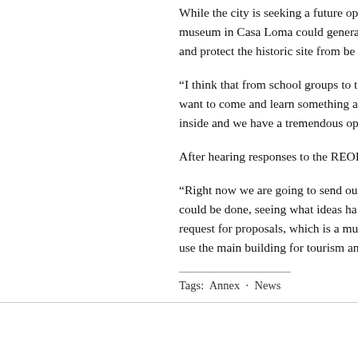While the city is seeking a future op... museum in Casa Loma could genera... and protect the historic site from be...
“I think that from school groups to t... want to come and learn something a... inside and we have a tremendous op...
After hearing responses to the REOI...
“Right now we are going to send ou... could be done, seeing what ideas ha... request for proposals, which is a mu... use the main building for tourism an...
Tags: Annex · News